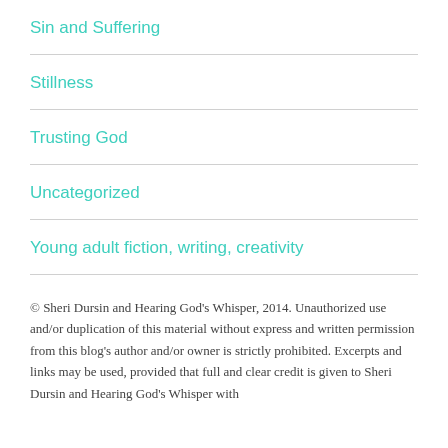Sin and Suffering
Stillness
Trusting God
Uncategorized
Young adult fiction, writing, creativity
© Sheri Dursin and Hearing God's Whisper, 2014. Unauthorized use and/or duplication of this material without express and written permission from this blog's author and/or owner is strictly prohibited. Excerpts and links may be used, provided that full and clear credit is given to Sheri Dursin and Hearing God's Whisper with